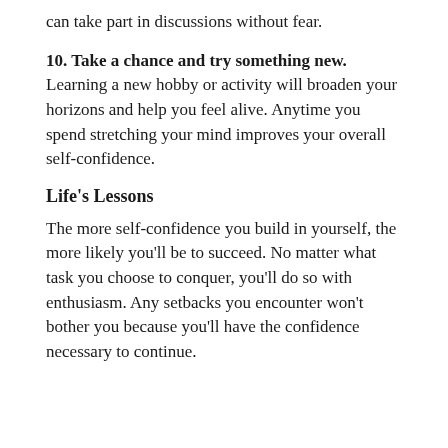can take part in discussions without fear.
10. Take a chance and try something new. Learning a new hobby or activity will broaden your horizons and help you feel alive. Anytime you spend stretching your mind improves your overall self-confidence.
Life's Lessons
The more self-confidence you build in yourself, the more likely you'll be to succeed. No matter what task you choose to conquer, you'll do so with enthusiasm. Any setbacks you encounter won't bother you because you'll have the confidence necessary to continue.